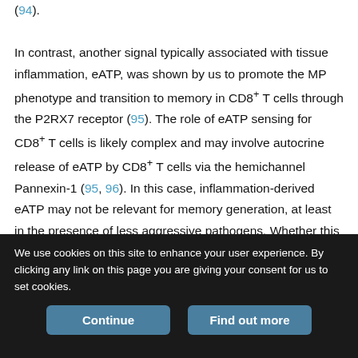(94). In contrast, another signal typically associated with tissue inflammation, eATP, was shown by us to promote the MP phenotype and transition to memory in CD8+ T cells through the P2RX7 receptor (95). The role of eATP sensing for CD8+ T cells is likely complex and may involve autocrine release of eATP by CD8+ T cells via the hemichannel Pannexin-1 (95, 96). In this case, inflammation-derived eATP may not be relevant for memory generation, at least in the presence of less aggressive pathogens. Whether this is true in the presence of infections that induce enhanced or prolonged tissue inflammation, such as influenza in the lung or Yersinia in the gut, remains to be defined. In addition,
We use cookies on this site to enhance your user experience. By clicking any link on this page you are giving your consent for us to set cookies.